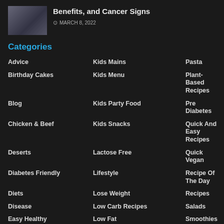[Figure (photo): Small thumbnail photo of a person's hands]
Benefits, and Cancer Signs
MARCH 8, 2022
Categories
Advice
Birthday Cakes
Blog
Chicken & Beef
Deserts
Diabetes Friendly
Diets
Disease
Easy Healthy
Health
Healthy Desserts
Healthy Dinner
Healthy Recipes
Kids Mains
Kids Menu
Kids Party Food
Kids Snacks
Lactose Free
Lifestyle
Lose Weight
Low Carb Recipes
Low Fat
Low Fat Desserts
Low FODMAP Diet
Low Kilojoule
Lower Cholesterol
Pasta
Plant-Based Recipes
Pre Diabetes
Quick And Easy Recipes
Quick Vegan
Recipe Of The Day
Recipes
Salads
Smoothies
Superfoods
Vegan Baking
Vegan Dinner